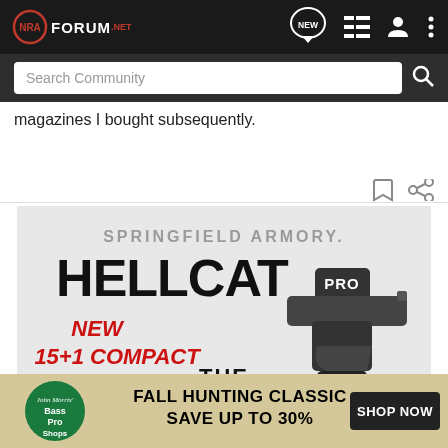NRA Forum .net — Search Community
magazines I bought subsequently.
[Figure (advertisement): Springfield Armory Hellcat PRO advertisement. Text: SPRINGFIELD ARMORY. HELLCAT PRO. NEW 15+1 COMPACT. THE [cut off]. Shows a hand holding a compact pistol.]
[Figure (advertisement): Bass Pro Shops advertisement. Text: FALL HUNTING CLASSIC SAVE UP TO 30% SHOP NOW. Shows Bass Pro Shops logo.]